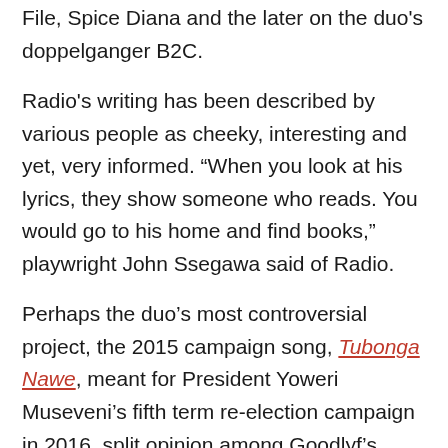File, Spice Diana and the later on the duo's doppelganger B2C.
Radio's writing has been described by various people as cheeky, interesting and yet, very informed. “When you look at his lyrics, they show someone who reads. You would go to his home and find books,” playwright John Ssegawa said of Radio.
Perhaps the duo’s most controversial project, the 2015 campaign song, Tubonga Nawe, meant for President Yoweri Museveni’s fifth term re-election campaign in 2016, split opinion among Goodlyf’s most ardent fans.